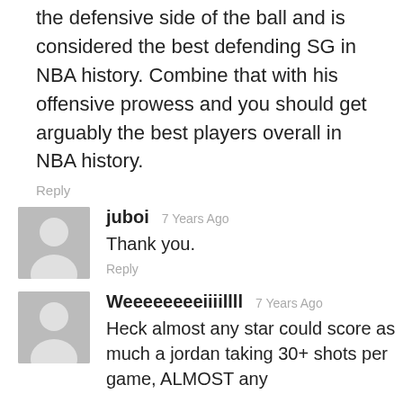the defensive side of the ball and is considered the best defending SG in NBA history. Combine that with his offensive prowess and you should get arguably the best players overall in NBA history.
Reply
[Figure (illustration): Grey avatar placeholder icon for user juboi]
juboi  7 Years Ago
Thank you.
Reply
[Figure (illustration): Grey avatar placeholder icon for user Weeeeeeeeiiiillll]
Weeeeeeeeiiiillll  7 Years Ago
Heck almost any star could score as much a jordan taking 30+ shots per game, ALMOST any